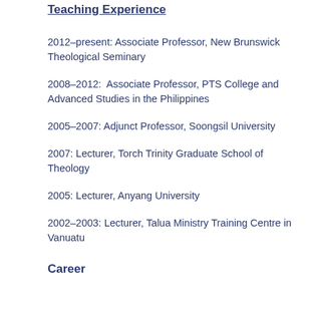Teaching Experience
2012–present: Associate Professor, New Brunswick Theological Seminary
2008–2012:  Associate Professor, PTS College and Advanced Studies in the Philippines
2005–2007: Adjunct Professor, Soongsil University
2007: Lecturer, Torch Trinity Graduate School of Theology
2005: Lecturer, Anyang University
2002–2003: Lecturer, Talua Ministry Training Centre in Vanuatu
Career